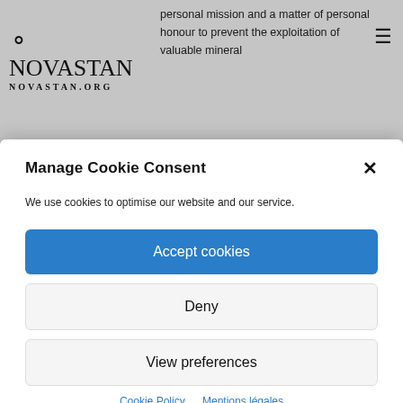NOVASTAN.ORG
personal mission and a matter of personal honour to prevent the exploitation of valuable mineral
Manage Cookie Consent
We use cookies to optimise our website and our service.
Accept cookies
Deny
View preferences
Cookie Policy   Mentions légales
indicates that it contains 11 kg of gold. More than 600 hectares of beautiful floodplain forests is given away with it!